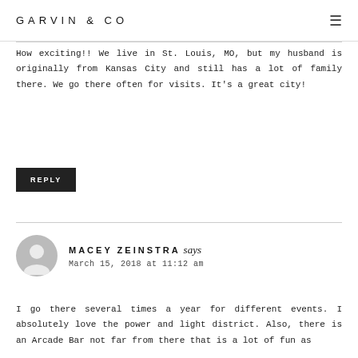GARVIN & CO
How exciting!! We live in St. Louis, MO, but my husband is originally from Kansas City and still has a lot of family there. We go there often for visits. It's a great city!
REPLY
MACEY ZEINSTRA says
March 15, 2018 at 11:12 am
I go there several times a year for different events. I absolutely love the power and light district. Also, there is an Arcade Bar not far from there that is a lot of fun as